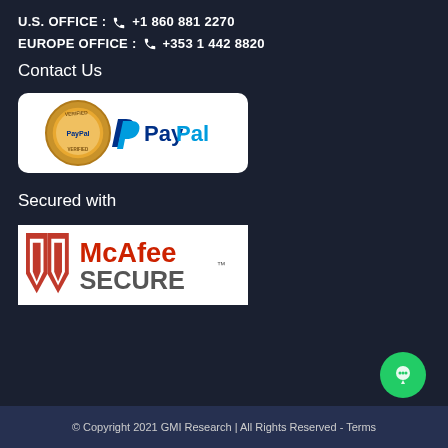U.S. OFFICE : +1 860 881 2270
EUROPE OFFICE : +353 1 442 8820
Contact Us
[Figure (logo): PayPal Verified badge and PayPal logo on white rounded rectangle background]
Secured with
[Figure (logo): McAfee SECURE logo on white rectangle background]
© Copyright 2021 GMI Research | All Rights Reserved - Terms